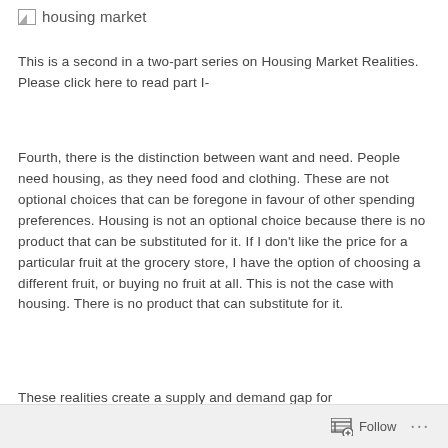housing market
This is a second in a two-part series on Housing Market Realities.  Please click here to read part I-
Fourth, there is the distinction between want and need. People need housing, as they need food and clothing. These are not optional choices that can be foregone in favour of other spending preferences. Housing is not an optional choice because there is no product that can be substituted for it. If I don’t like the price for a particular fruit at the grocery store, I have the option of choosing a different fruit, or buying no fruit at all. This is not the case with housing. There is no product that can substitute for it.
These realities create a supply and demand gap for
Follow